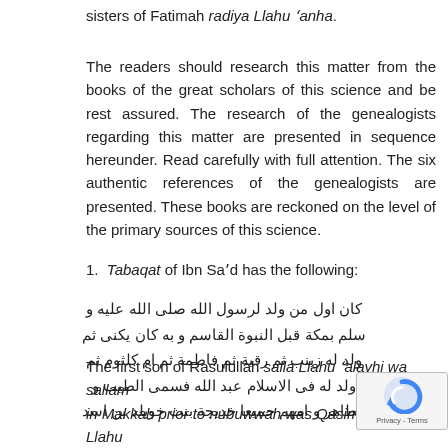sisters of Fatimah radiya Llahu 'anha.
The readers should research this matter from the books of the great scholars of this science and be rest assured. The research of the genealogists regarding this matter are presented in sequence hereunder. Read carefully with full attention. The six authentic references of the genealogists are presented. These books are reckoned on the level of the primary sources of this science.
1.  Tabaqat of Ibn Sa'd has the following:
كان اول من ولد لرسول الله صلى الله عليه و سلم بمكة قبل النبوة القاسم و به كان يكنى ثم ولد له زينب ثم رقية ثم فاطمة ثم ام كلثوم ثم ولد له فى الاسلام عبد الله فسمى الطيب و الطاهر و امهم جميعا خديجة بنت خويلد بن اسد
The first son of Rasulullah salla Llahu 'alayhi wa sallam in Makkah prior to nubuwwah was Qasim radiya Llahu